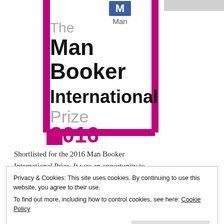[Figure (logo): Man Booker International Prize 2016 logo with magenta book-shaped border. Text reads: 'The Man Booker International Prize 2016' with 'Man' logo at top.]
Shortlisted for the 2016 Man Booker International Prize. It was an opportunity to read a book by a woman in translation. I have
Privacy & Cookies: This site uses cookies. By continuing to use this website, you agree to their use.
To find out more, including how to control cookies, see here: Cookie Policy
Close and accept